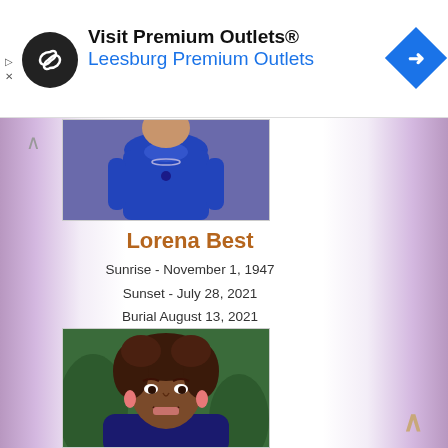[Figure (photo): Advertisement banner: Premium Outlets logo (black circle with infinity-like arrows), text 'Visit Premium Outlets® Leesburg Premium Outlets', blue navigation diamond icon]
[Figure (photo): Cropped photo of a person in a blue outfit, top portion visible]
Lorena Best
Sunrise - November 1, 1947
Sunset - July 28, 2021
Burial August 13, 2021
[Figure (photo): Portrait photo of Lorena Best, a woman with curly dark hair, smiling, wearing pink earrings]